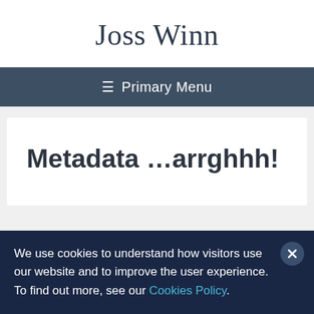Joss Winn
≡ Primary Menu
Metadata …arrghhh!
We use cookies to understand how visitors use our website and to improve the user experience. To find out more, see our Cookies Policy.